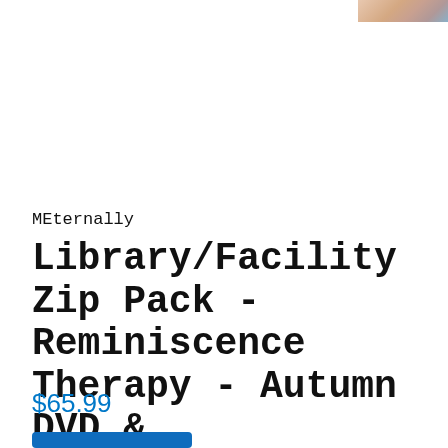[Figure (photo): Small product thumbnail image in the top-right corner showing an autumn/seasonal themed product with warm and blue tones.]
MEternally
Library/Facility Zip Pack - Reminiscence Therapy - Autumn DVD & Photo/Activity Cards Kit
$65.99